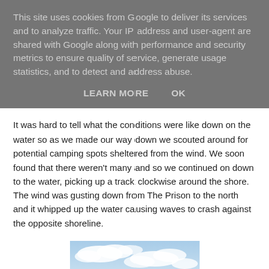This site uses cookies from Google to deliver its services and to analyze traffic. Your IP address and user-agent are shared with Google along with performance and security metrics to ensure quality of service, generate usage statistics, and to detect and address abuse.
LEARN MORE   OK
It was hard to tell what the conditions were like down on the water so as we made our way down we scouted around for potential camping spots sheltered from the wind. We soon found that there weren't many and so we continued on down to the water, picking up a track clockwise around the shore. The wind was gusting down from The Prison to the north and it whipped up the water causing waves to crash against the opposite shoreline.
[Figure (photo): A partial photo visible at the bottom of the page showing a blue sky with white clouds, and possibly a shoreline or water in the lower portion.]